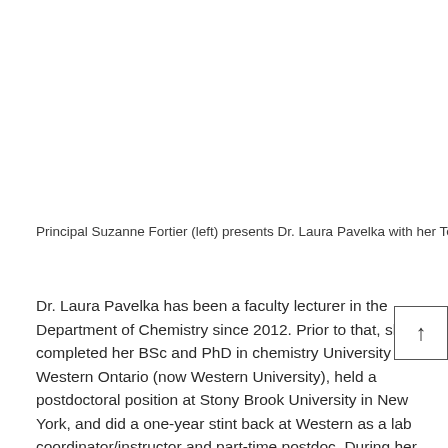Principal Suzanne Fortier (left) presents Dr. Laura Pavelka with her Teaching Prize. / Photo: Owen Egan
Dr. Laura Pavelka has been a faculty lecturer in the Department of Chemistry since 2012. Prior to that, she completed her BSc and PhD in chemistry University of Western Ontario (now Western University), held a postdoctoral position at Stony Brook University in New York, and did a one-year stint back at Western as a lab coordinator/instructor and part-time postdoc. During her postdoc in New York, she also taught general chemistry at Hofstra University. “It was during these two teaching positions that I realized I was more interested in teaching than pursuing a research career, so I started applying to teaching positions